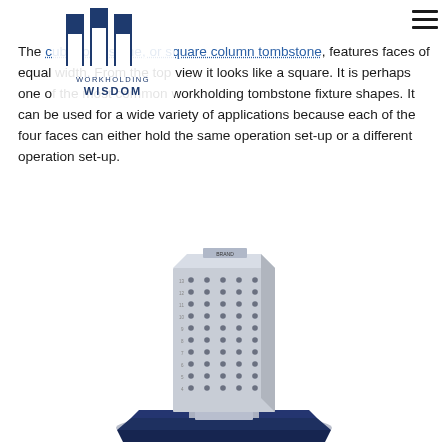[Figure (logo): Workholding Wisdom logo — dark blue stylized W/building shape with text 'WORKHOLDING WISDOM' below]
The cube tombstone, or square column tombstone, features faces of equal width. From the top view it looks like a square. It is perhaps one of the most common workholding tombstone fixture shapes. It can be used for a wide variety of applications because each of the four faces can either hold the same operation set-up or a different operation set-up.
[Figure (photo): A tall square/cube tombstone workholding fixture mounted on a dark blue base plate. The tombstone has multiple rows of threaded holes on its face. The unit appears to be a metallic silver color.]